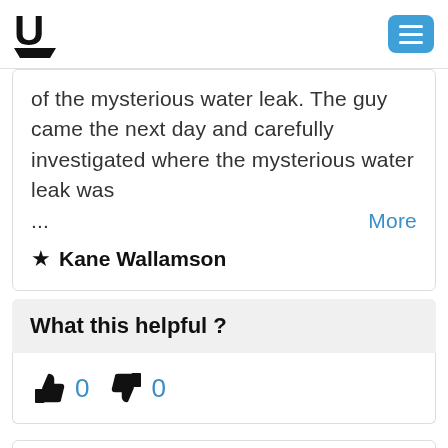U [logo] [menu button]
of the mysterious water leak. The guy came the next day and carefully investigated where the mysterious water leak was ... More
★ Kane Wallamson
What this helpful ?
👍 0  👎 0
Alto Plumbing...